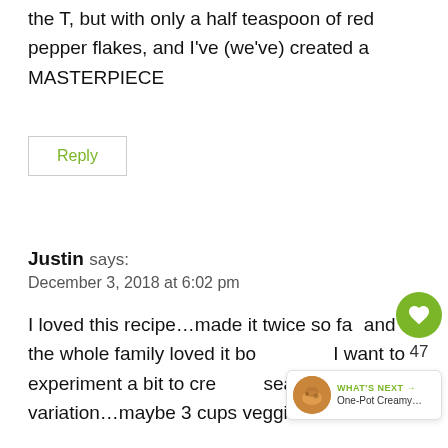the T, but with only a half teaspoon of red pepper flakes, and I've (we've) created a MASTERPIECE
Reply
Justin says:
December 3, 2018 at 6:02 pm
I loved this recipe…made it twice so far and the whole family loved it both times. I want to experiment a bit to create a seafood variation…maybe 3 cups veggie